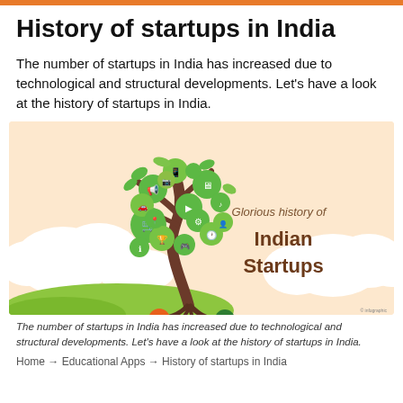History of startups in India
The number of startups in India has increased due to technological and structural developments. Let's have a look at the history of startups in India.
[Figure (infographic): Illustration of a tree with technology/startup icons in the canopy (shopping cart, megaphone, trophy, monitor, mobile, play button, etc.) and company logos at the roots (Intel, email, etc.). Text reads 'Glorious history of Indian Startups' on the right side. Peach/orange sky background with white cloud shapes and green ground.]
The number of startups in India has increased due to technological and structural developments. Let's have a look at the history of startups in India.
Home → Educational Apps → History of startups in India